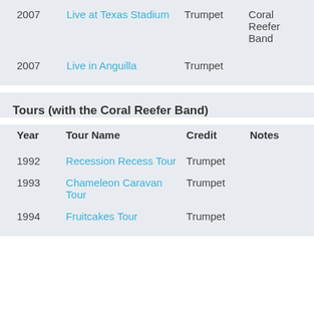| Year | Album Name | Credit | Notes |
| --- | --- | --- | --- |
| 2007 | Live at Texas Stadium | Trumpet | Coral Reefer Band |
| 2007 | Live in Anguilla | Trumpet |  |
Tours (with the Coral Reefer Band)
| Year | Tour Name | Credit | Notes |
| --- | --- | --- | --- |
| 1992 | Recession Recess Tour | Trumpet |  |
| 1993 | Chameleon Caravan Tour | Trumpet |  |
| 1994 | Fruitcakes Tour | Trumpet |  |